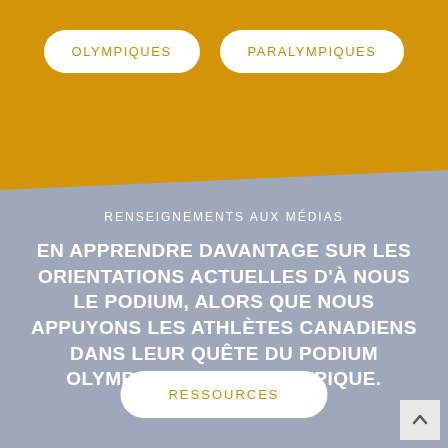[Figure (screenshot): Golden/yellow background top section of a webpage]
OLYMPIQUES
PARALYMPIQUES
RENSEIGNEMENTS AUX MÉDIAS
EN APPRENDRE DAVANTAGE SUR LES ORIENTATIONS ACTUELLES D'À NOUS LE PODIUM, ALORS QUE NOUS APPUYONS LES ATHLÈTES CANADIENS DANS LEUR QUÊTE DU PODIUM OLYMPIQUE ET PARALYMPIQUE.
RESSOURCES